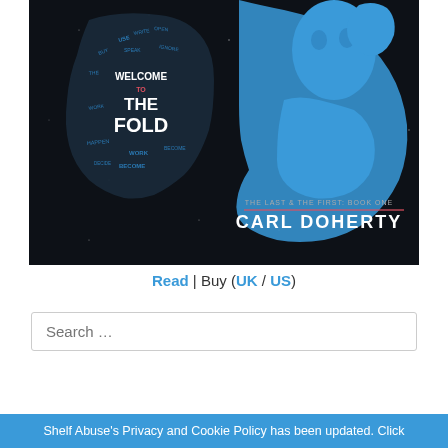[Figure (illustration): Book cover for 'Welcome to The Fold' by Carl Doherty. Dark background with a stylized human head made of typography words on the left brain half and a blue illustrated human figure silhouette on the right. Title text reads 'WELCOME TO THE FOLD' and subtitle reads 'THE LAST & THE FIRST: BOOK ONE' with author name 'CARL DOHERTY'.]
Read | Buy (UK / US)
Search …
Shelf Abuse's Privacy and Cookie Policy has been updated. Click